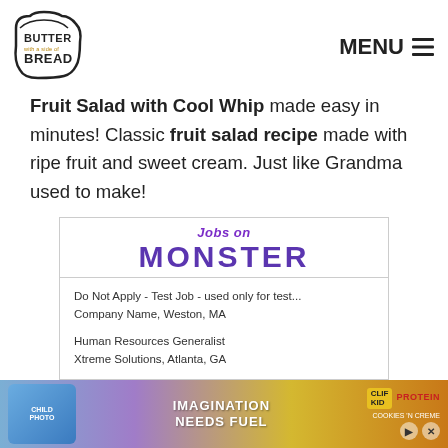[Figure (logo): Butter with a Side of Bread logo — stylized bread loaf outline with bold text]
MENU ☰
Fruit Salad with Cool Whip made easy in minutes! Classic fruit salad recipe made with ripe fruit and sweet cream. Just like Grandma used to make!
[Figure (screenshot): Jobs on Monster advertisement with two job listings: 'Do Not Apply - Test Job - used only for test... Company Name, Weston, MA' and 'Human Resources Generalist, Xtreme Solutions, Atlanta, GA']
[Figure (photo): Bottom banner advertisement for CLIF Kid protein bars showing a child smiling with text 'Imagination Needs Fuel' and protein branding]